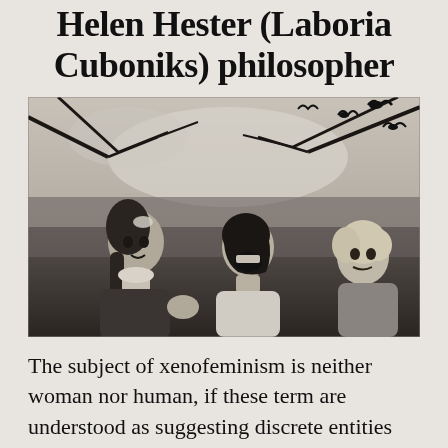Helen Hester (Laboria Cuboniks) philosopher
[Figure (photo): Black and white photograph of three children outdoors, looking upward with expressions of alarm or distress. Dark bird silhouettes (possibly from a Hitchcock film scene) are visible in the upper portion of the image against a light sky. Tree branches are also visible.]
The subject of xenofeminism is neither woman nor human, if these term are understood as suggesting discrete entities snipped from the